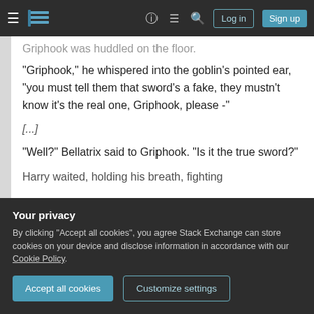Stack Exchange navigation bar with Log in and Sign up buttons
Griphook was huddled on the floor.
"Griphook," he whispered into the goblin's pointed ear, "you must tell them that sword's a fake, they mustn't know it's the real one, Griphook, please -"
[...]
"Well?" Bellatrix said to Griphook. "Is it the true sword?"
Harry waited, holding his breath, fighting
Your privacy
By clicking "Accept all cookies", you agree Stack Exchange can store cookies on your device and disclose information in accordance with our Cookie Policy.
Accept all cookies
Customize settings